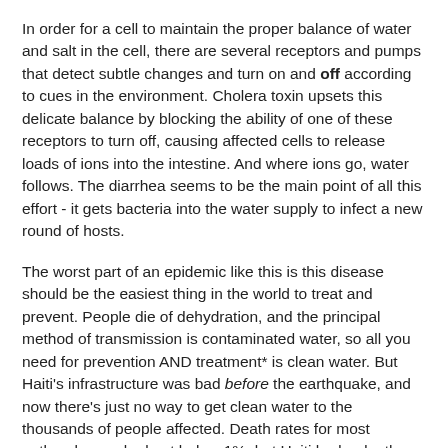In order for a cell to maintain the proper balance of water and salt in the cell, there are several receptors and pumps that detect subtle changes and turn on and off according to cues in the environment. Cholera toxin upsets this delicate balance by blocking the ability of one of these receptors to turn off, causing affected cells to release loads of ions into the intestine. And where ions go, water follows. The diarrhea seems to be the main point of all this effort - it gets bacteria into the water supply to infect a new round of hosts.
The worst part of an epidemic like this is this disease should be the easiest thing in the world to treat and prevent. People die of dehydration, and the principal method of transmission is contaminated water, so all you need for prevention AND treatment* is clean water. But Haiti's infrastructure was bad before the earthquake, and now there's just no way to get clean water to the thousands of people affected. Death rates for most outbreaks can be kept below 1%, but Haiti had a death rate around 9%. Efforts by aid groups had gotten it down to ~4%, but then: